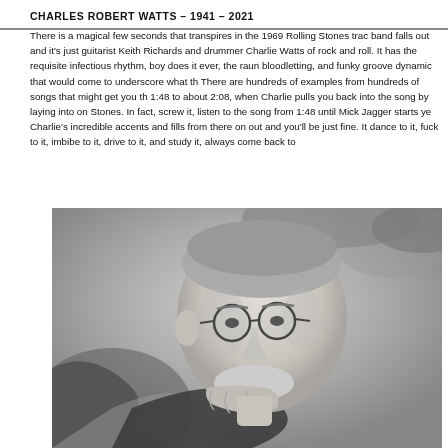CHARLES ROBERT WATTS - 1941 - 2021
There is a magical few seconds that transpires in the 1969 Rolling Stones trac band falls out and it's just guitarist Keith Richards and drummer Charlie Watts of rock and roll. It has the requisite infectious rhythm, boy does it ever, the raun bloodletting, and funky groove dynamic that would come to underscore what th There are hundreds of examples from hundreds of songs that might get you th 1:48 to about 2:08, when Charlie pulls you back into the song by laying into on Stones. In fact, screw it, listen to the song from 1:48 until Mick Jagger starts ye Charlie's incredible accents and fills from there on out and you'll be just fine. It dance to it, fuck to it, imbibe to it, drive to it, and study it, always come back to
[Figure (photo): Black and white photograph of Charlie Watts, a man with short hair wearing round glasses, resting his chin on his hand, looking thoughtful or pensive.]